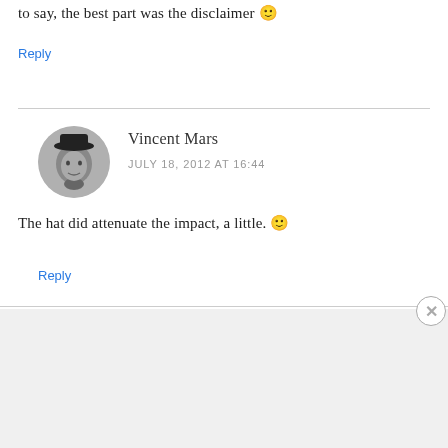to say, the best part was the disclaimer 🙂
Reply
[Figure (photo): Black and white circular avatar photo of Vincent Mars]
Vincent Mars
JULY 18, 2012 AT 16:44
The hat did attenuate the impact, a little. 🙂
Reply
Advertisements
[Figure (infographic): DuckDuckGo advertisement banner with orange background. Text reads: Search, browse, and email with more privacy. All in One Free App. Shows a phone with DuckDuckGo logo.]